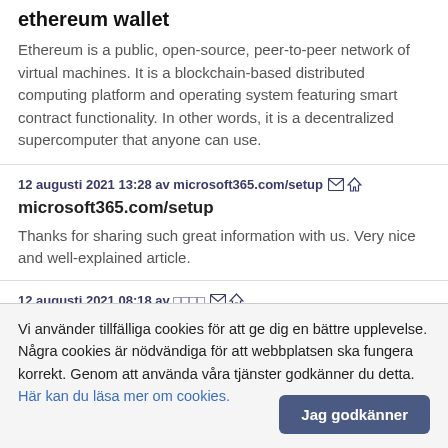ethereum wallet
Ethereum is a public, open-source, peer-to-peer network of virtual machines. It is a blockchain-based distributed computing platform and operating system featuring smart contract functionality. In other words, it is a decentralized supercomputer that anyone can use.
12 augusti 2021 13:28 av microsoft365.com/setup
microsoft365.com/setup
Thanks for sharing such great information with us. Very nice and well-explained article.
12 augusti 2021 08:18 av □□□□
https://red0228.blogspot.com □□□□
Vi använder tillfälliga cookies för att ge dig en bättre upplevelse. Några cookies är nödvändiga för att webbplatsen ska fungera korrekt. Genom att använda våra tjänster godkänner du detta. Här kan du läsa mer om cookies.
Jag godkänner